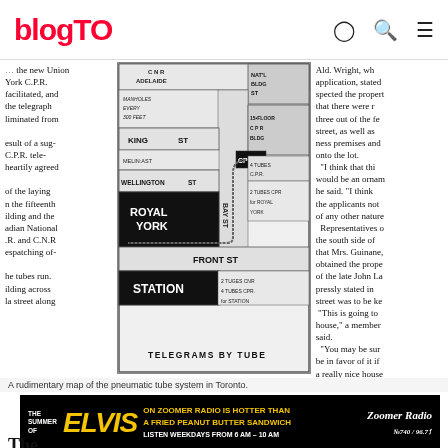blogTO
the new Union York C.P.R. facilitated, and the telegraph liminated from result of a sug- C.P.R. tele- heartily agreed of the laying n the fifteenth ilding and the adian National .R. and C.N.R espatching of- he tubes run. ilding across la street along
[Figure (map): A rudimentary map of the pneumatic tube telegraph system in downtown Toronto, showing streets (Adelaide, King, Wellington, Front), landmarks (Royal York hotel, Station, NAT'L BLDG ST, 15S FLOOR CPR BLDG), and tube routes labeled: CNR ADELAIDE, MANHOLES EVERY 300 FEET, MELIN:AST, CPR 4 TUBES CPR, 2 TUBES CPR for ROYAL YORK, FRONT ST, 2 TUBES CNR, 4 TUBES CPR for STATION, BAY ST. Title: TELEGRAMS BY TUBE]
Ald. Wright, wh application, stated spected the propert that there were r three out of the fe street, as well as ness premises and onto the lot. "I think that thi would be an ornam he said. "I think the applicants not of any other nature Representatives o the south side of that Mrs. Guinane, obtained the prope of the late John La pressly stated in street was to be ke "This is going to house," a member said. "You may be sur be in favor of it if a really nice house
A rudimentary map of the pneumatic tube system in Toronto.
[Figure (infographic): Advertisement banner: THE SUMMER OF ELVIS ON ZOOMER RADIO IS HOTTER THAN A FRIED PEANUT BUTTER SANDWICH. LISTEN WEEKDAYS FROM 6 AM - 10 AM. Zoomer Radio 740/96.7.]